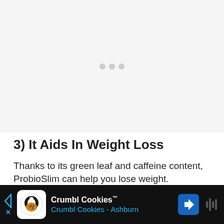[Figure (other): Loading placeholder area with three grey dots indicating content is loading]
3) It Aids In Weight Loss
Thanks to its green leaf and caffeine content, ProbioSlim can help you lose weight.
As a probiotic content, which helps in fighting belly blo[at — content cut off] ...nmer!
[Figure (other): Advertisement banner for Crumbl Cookies - Ashburn with navigation arrow icon and audio waveform icon]